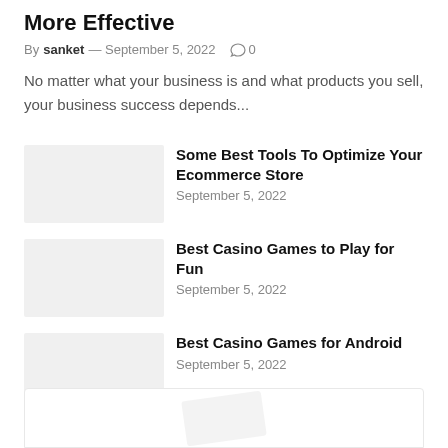More Effective
By sanket — September 5, 2022  0
No matter what your business is and what products you sell, your business success depends...
Some Best Tools To Optimize Your Ecommerce Store
September 5, 2022
Best Casino Games to Play for Fun
September 5, 2022
Best Casino Games for Android
September 5, 2022
[Figure (other): Partial card or article image at the bottom of the page, mostly cropped out]